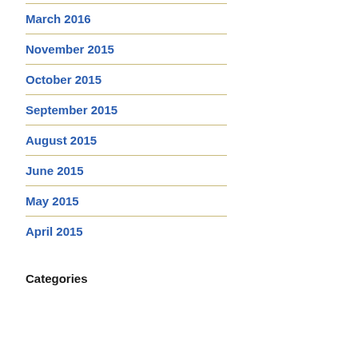March 2016
November 2015
October 2015
September 2015
August 2015
June 2015
May 2015
April 2015
Categories